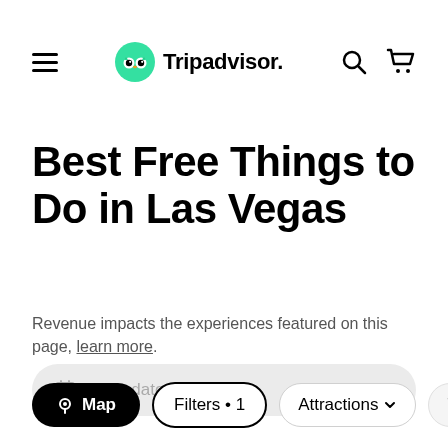[Figure (logo): Tripadvisor logo with green owl icon and navigation bar including hamburger menu, search icon, and cart icon]
Best Free Things to Do in Las Vegas
Revenue impacts the experiences featured on this page, learn more.
[Figure (screenshot): Enter dates input field with calendar icon, rounded pill shape, gray background]
[Figure (screenshot): Filter bar with Map button (black pill), Filters • 1 button (outlined), Attractions dropdown, and Travel partial button]